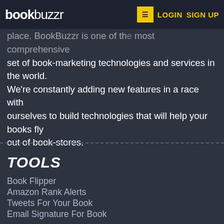bookbuzzr | LOGIN | SIGN UP
If you're an author or publisher, you've come to the right place. BookBuzzr is one of the most comprehensive set of book-marketing technologies and services in the world. We're constantly adding new features in a race with ourselves to build technologies that will help your books fly out of book-stores.
TOOLS
Book Flipper
Amazon Rank Alerts
Tweets For Your Book
Email Signature For Book
AUTHORS
Book Marketing Services